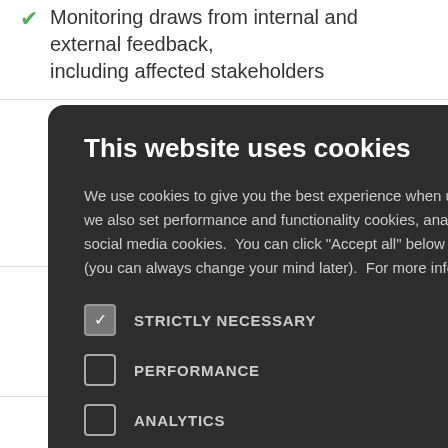Monitoring draws from internal and external feedback, including affected stakeholders
ate, accessible, s-compatible, a ed on 4)
ctivities that the COP to fulfill metrics, and
human rights itative and ply chain (BRE3
[Figure (screenshot): Cookie consent modal dialog on dark background. Title: 'This website uses cookies'. Body text explains cookie usage and permissions. Options listed with checkboxes: STRICTLY NECESSARY (checked), PERFORMANCE (unchecked), ANALYTICS (unchecked), FUNCTIONALITY (unchecked), SOCIAL MEDIA (unchecked). X close button in top right.]